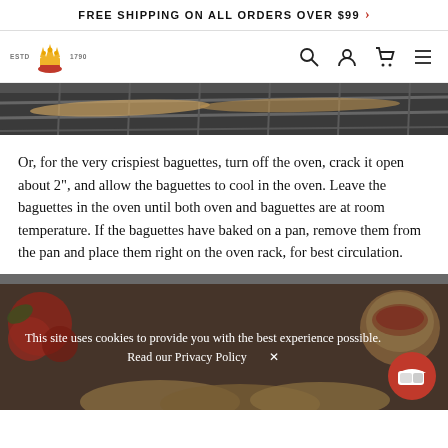FREE SHIPPING ON ALL ORDERS OVER $99 >
[Figure (logo): King Arthur Baking Company logo — wheat crown icon with ESTD 1790 text, plus navigation icons (search, account, cart, menu)]
[Figure (photo): Partial view of baguettes baking in an oven — close-up of dark oven rack with bread]
Or, for the very crispiest baguettes, turn off the oven, crack it open about 2", and allow the baguettes to cool in the oven. Leave the baguettes in the oven until both oven and baguettes are at room temperature. If the baguettes have baked on a pan, remove them from the pan and place them right on the oven rack, for best circulation.
[Figure (photo): Food background image showing bread, tomatoes, and a bowl of soup]
This site uses cookies to provide you with the best experience possible.
Read our Privacy Policy